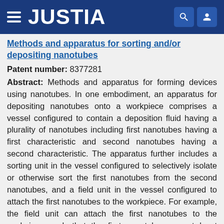JUSTIA
Methods and apparatus for sorting and/or depositing nanotubes
Patent number: 8377281
Abstract: Methods and apparatus for forming devices using nanotubes. In one embodiment, an apparatus for depositing nanotubes onto a workpiece comprises a vessel configured to contain a deposition fluid having a plurality of nanotubes including first nanotubes having a first characteristic and second nanotubes having a second characteristic. The apparatus further includes a sorting unit in the vessel configured to selectively isolate or otherwise sort the first nanotubes from the second nanotubes, and a field unit in the vessel configured to attach the first nanotubes to the workpiece. For example, the field unit can attach the first nanotubes to the workpiece such that the first nanotubes are at least generally parallel to each other and in a desired orientation relative to the workpiece.